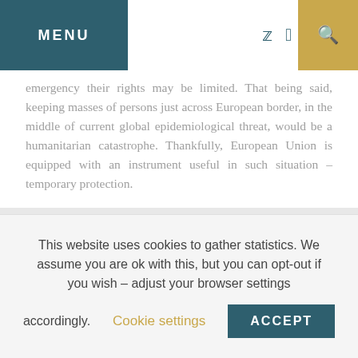MENU
emergency their rights may be limited. That being said, keeping masses of persons just across European border, in the middle of current global epidemiological threat, would be a humanitarian catastrophe. Thankfully, European Union is equipped with an instrument useful in such situation – temporary protection.
It was created by the EU in 2001, due to the experiences with mass influx of displaced persons during conflicts after the fall of former Yugoslavia. Idea behind Council Directive 2001/55/EC of 20 July 2001 on minimum standards for giving temporary protection was to manage vast numbers of immigrants efficiently, thanks
This website uses cookies to gather statistics. We assume you are ok with this, but you can opt-out if you wish – adjust your browser settings accordingly. Cookie settings ACCEPT